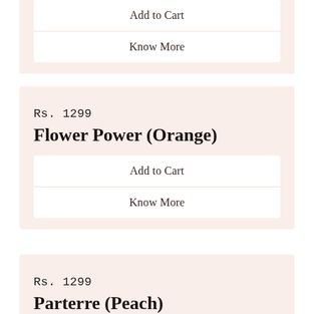Add to Cart
Know More
Rs. 1299
Flower Power (Orange)
Add to Cart
Know More
Rs. 1299
Parterre (Peach)
Add to Cart